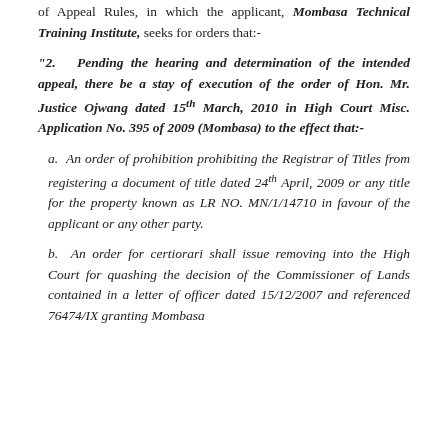of Appeal Rules, in which the applicant, Mombasa Technical Training Institute, seeks for orders that:-
“2. Pending the hearing and determination of the intended appeal, there be a stay of execution of the order of Hon. Mr. Justice Ojwang dated 15th March, 2010 in High Court Misc. Application No. 395 of 2009 (Mombasa) to the effect that:-
a. An order of prohibition prohibiting the Registrar of Titles from registering a document of title dated 24th April, 2009 or any title for the property known as LR NO. MN/1/14710 in favour of the applicant or any other party.
b. An order for certiorari shall issue removing into the High Court for quashing the decision of the Commissioner of Lands contained in a letter of officer dated 15/12/2007 and referenced 76474/IX granting Mombasa